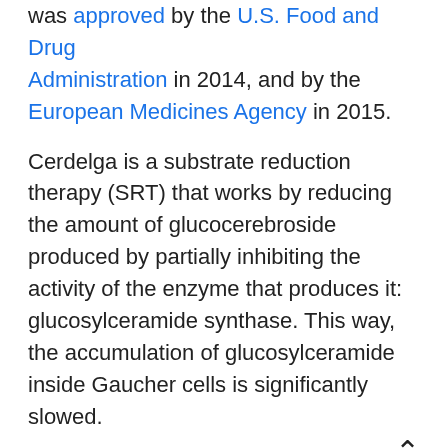was approved by the U.S. Food and Drug Administration in 2014, and by the European Medicines Agency in 2015.
Cerdelga is a substrate reduction therapy (SRT) that works by reducing the amount of glucocerebroside produced by partially inhibiting the activity of the enzyme that produces it: glucosylceramide synthase. This way, the accumulation of glucosylceramide inside Gaucher cells is significantly slowed.
“Four clinical trials have been completed in adults with Gaucher disease type 1 …. Together, these four clinical trials have